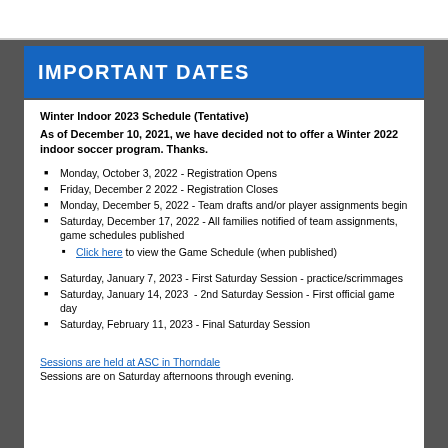IMPORTANT DATES
Winter Indoor 2023 Schedule (Tentative)
As of December 10, 2021, we have decided not to offer a Winter 2022 indoor soccer program. Thanks.
Monday, October 3, 2022 - Registration Opens
Friday, December 2 2022 - Registration Closes
Monday, December 5, 2022 - Team drafts and/or player assignments begin
Saturday, December 17, 2022 - All families notified of team assignments, game schedules published
Click here to view the Game Schedule (when published)
Saturday, January 7, 2023 - First Saturday Session - practice/scrimmages
Saturday, January 14, 2023 - 2nd Saturday Session - First official game day
Saturday, February 11, 2023 - Final Saturday Session
Sessions are held at ASC in Thorndale
Sessions are on Saturday afternoons through evening.